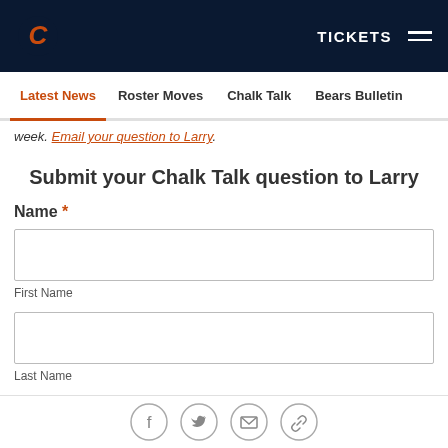TICKETS
Latest News  Roster Moves  Chalk Talk  Bears Bulletin
week. Email your question to Larry.
Submit your Chalk Talk question to Larry
Name *
First Name
Last Name
Social icons: Facebook, Twitter, Email, Link